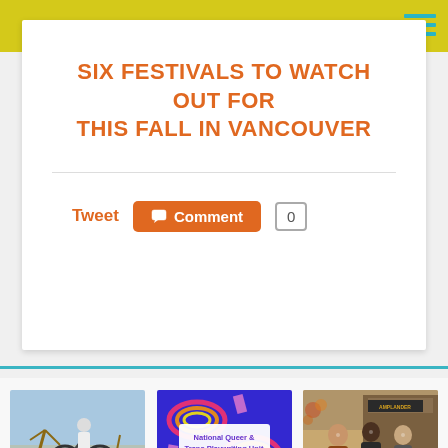SIX FESTIVALS TO WATCH OUT FOR THIS FALL IN VANCOUVER
Tweet  Comment  0
[Figure (photo): Person doing a trick on a BMX bike outdoors against a sky background]
9 DESTINATION-WORTHY BIKE SKILLS PARKS AROUND...
[Figure (photo): Colorful poster for National Queer & Trans Playwriting Unit with rainbows on blue background]
VANCOUVERS ZEE ZEE THEATRE ESTABLISHES A GR...
[Figure (photo): Group of people smiling walking on a city sidewalk in front of a restaurant]
A WALKABLE CITY